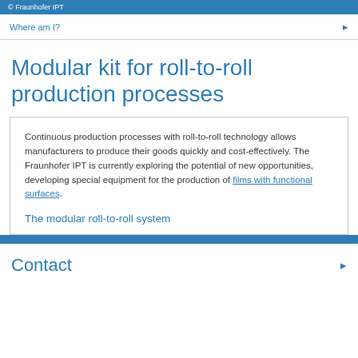© Fraunhofer IPT
Where am I?
Modular kit for roll-to-roll production processes
Continuous production processes with roll-to-roll technology allows manufacturers to produce their goods quickly and cost-effectively. The Fraunhofer IPT is currently exploring the potential of new opportunities, developing special equipment for the production of films with functional surfaces.
The modular roll-to-roll system
Contact